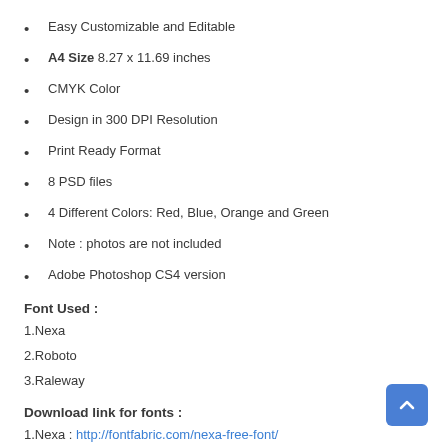Easy Customizable and Editable
A4 Size 8.27 x 11.69 inches
CMYK Color
Design in 300 DPI Resolution
Print Ready Format
8 PSD files
4 Different Colors: Red, Blue, Orange and Green
Note : photos are not included
Adobe Photoshop CS4 version
Font Used :
1.Nexa
2.Roboto
3.Raleway
Download link for fonts :
1.Nexa : http://fontfabric.com/nexa-free-font/